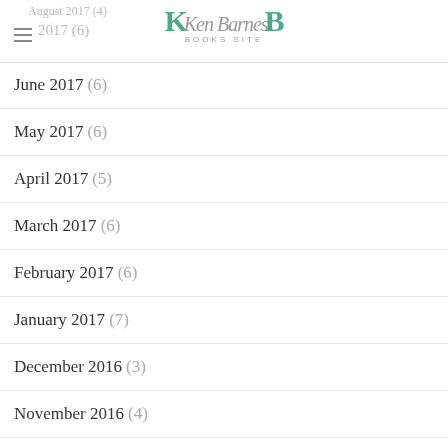KB Books Site logo
August 2017 (4)
July 2017 (6)
June 2017 (6)
May 2017 (6)
April 2017 (5)
March 2017 (6)
February 2017 (6)
January 2017 (7)
December 2016 (3)
November 2016 (4)
October 2016 (3)
September 2016 (3)